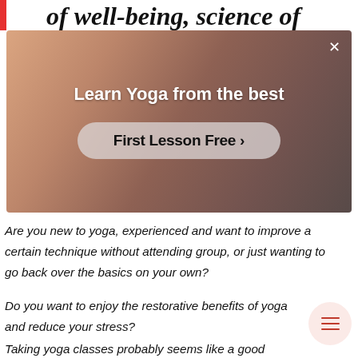of well-being, science of
[Figure (photo): Advertisement banner showing a person practicing yoga in a studio setting, with text 'Learn Yoga from the best' and a button 'First Lesson Free >']
Are you new to yoga, experienced and want to improve a certain technique without attending group, or just wanting to go back over the basics on your own?
Do you want to enjoy the restorative benefits of yoga and reduce your stress?
Taking yoga classes probably seems like a good